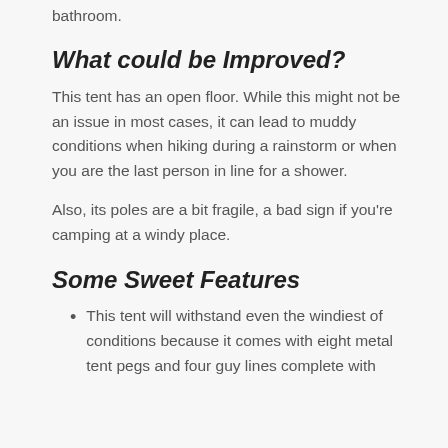bathroom.
What could be Improved?
This tent has an open floor. While this might not be an issue in most cases, it can lead to muddy conditions when hiking during a rainstorm or when you are the last person in line for a shower.
Also, its poles are a bit fragile, a bad sign if you're camping at a windy place.
Some Sweet Features
This tent will withstand even the windiest of conditions because it comes with eight metal tent pegs and four guy lines complete with